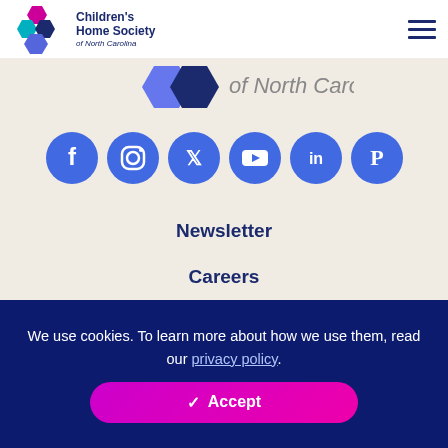Children's Home Society of North Carolina
[Figure (logo): Children's Home Society of North Carolina logo with hexagon shapes in pink, teal, blue]
[Figure (infographic): Social media icons row: Facebook, Instagram, Twitter, YouTube, LinkedIn, Pinterest — all blue circles with white icons]
Newsletter
Careers
Privacy Policy
We use cookies. To learn more about how we use them, read our privacy policy.
✓ Accept